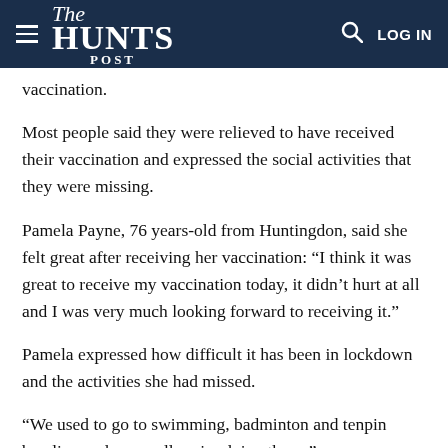The HUNTS POST — LOG IN
vaccination.
Most people said they were relieved to have received their vaccination and expressed the social activities that they were missing.
Pamela Payne, 76 years-old from Huntingdon, said she felt great after receiving her vaccination: “I think it was great to receive my vaccination today, it didn’t hurt at all and I was very much looking forward to receiving it.”
Pamela expressed how difficult it has been in lockdown and the activities she had missed.
“We used to go to swimming, badminton and tenpin bowling and  we really miss doing those,”